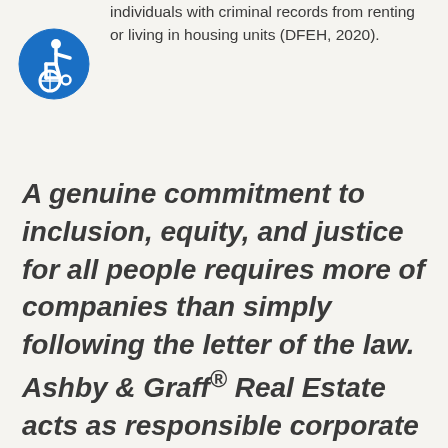individuals with criminal records from renting or living in housing units (DFEH, 2020).
[Figure (illustration): Blue circular accessibility icon showing a person in a wheelchair]
A genuine commitment to inclusion, equity, and justice for all people requires more of companies than simply following the letter of the law. Ashby & Graff® Real Estate acts as responsible corporate citizens through company policies and practices and